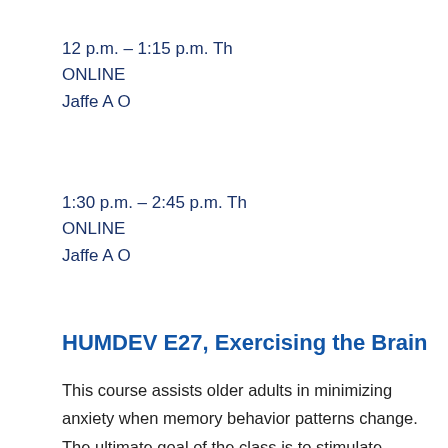12 p.m. – 1:15 p.m. Th
ONLINE
Jaffe A O
1:30 p.m. – 2:45 p.m. Th
ONLINE
Jaffe A O
HUMDEV E27, Exercising the Brain
This course assists older adults in minimizing anxiety when memory behavior patterns change. The ultimate goal of the class is to stimulate thinking and to exercise the brain. Older adults learn the latest information on the